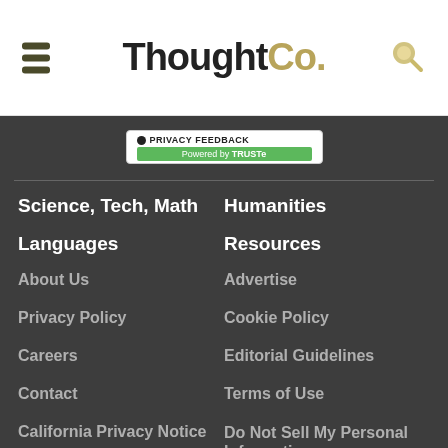ThoughtCo.
[Figure (logo): ThoughtCo. website logo with hamburger menu and search icon in header]
[Figure (other): Privacy Feedback badge powered by TRUSTe]
Science, Tech, Math
Humanities
Languages
Resources
About Us
Advertise
Privacy Policy
Cookie Policy
Careers
Editorial Guidelines
Contact
Terms of Use
California Privacy Notice
Do Not Sell My Personal Information
We help people find answers, solve problems and get inspired. Dotdash meredith